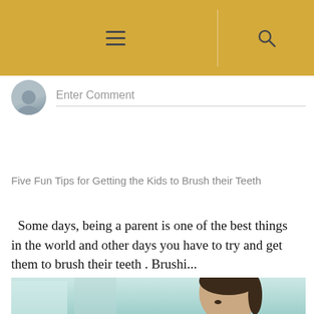≡  🔍
Enter Comment
Five Fun Tips for Getting the Kids to Brush their Teeth
Some days, being a parent is one of the best things in the world and other days you have to try and get them to brush their teeth . Brushi...
[Figure (photo): Photo of a young girl/woman in a bathroom setting, teal/mint colored background, dark hair pulled back]